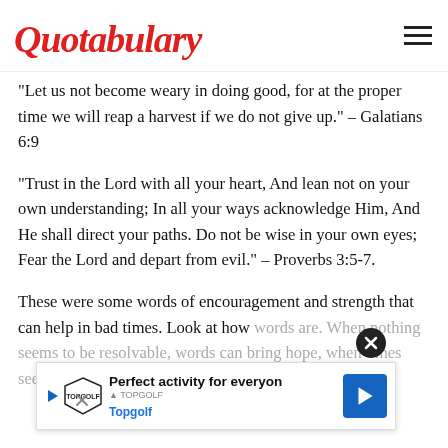Quotabulary
"Let us not become weary in doing good, for at the proper time we will reap a harvest if we do not give up." – Galatians 6:9
"Trust in the Lord with all your heart, And lean not on your own understanding; In all your ways acknowledge Him, And He shall direct your paths. Do not be wise in your own eyes; Fear the Lord and depart from evil." – Proverbs 3:5-7.
These were some words of encouragement and strength that can help in bad times. Look at how words are. When nothing seems to be resolvable, words can bring hope, when times seem difficult, words can help solve the problem.
[Figure (infographic): Advertisement banner for Topgolf with close button, play icon, Topgolf logo, text 'Perfect activity for everyone', and blue arrow icon]